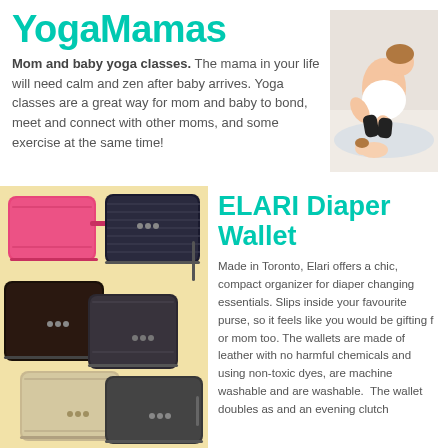YogaMamas
Mom and baby yoga classes. The mama in your life will need calm and zen after baby arrives. Yoga classes are a great way for mom and baby to bond, meet and connect with other moms, and some exercise at the same time!
[Figure (photo): Woman doing yoga with baby on a mat]
[Figure (photo): Multiple ELARI Diaper Wallets in pink, black, dark, and tan/gold colors arranged on a light yellow background]
ELARI Diaper Wallet
Made in Toronto, Elari offers a chic, compact organizer for diaper changing essentials. Slips inside your favourite purse, so it feels like you would be gifting for mom too. The wallets are made of leather with no harmful chemicals and are using non-toxic dyes, are machine washable and are washable. The wallet doubles as an evening clutch